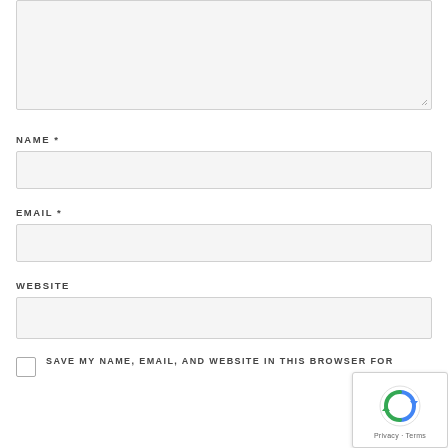[Figure (screenshot): Textarea input box (top portion, cut off), showing a light gray text area with resize handle at bottom right]
NAME *
[Figure (screenshot): Name input field — empty text input box with light gray background and border]
EMAIL *
[Figure (screenshot): Email input field — empty text input box with light gray background and border]
WEBSITE
[Figure (screenshot): Website input field — empty text input box with light gray background and border]
SAVE MY NAME, EMAIL, AND WEBSITE IN THIS BROWSER FOR
[Figure (screenshot): reCAPTCHA badge in bottom-right corner with reCAPTCHA icon and Privacy · Terms text]